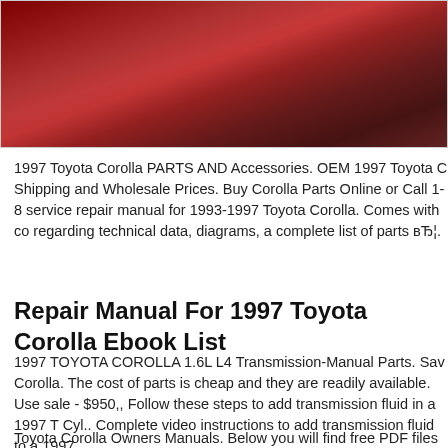[Figure (photo): Close-up photo of a red Toyota Corolla car door/body panel, showing glossy red paint and partial view of door handle area]
1997 Toyota Corolla PARTS AND Accessories. OEM 1997 Toyota C Shipping and Wholesale Prices. Buy Corolla Parts Online or Call 1-8 service repair manual for 1993-1997 Toyota Corolla. Comes with co regarding technical data, diagrams, a complete list of parts вЂ¦.
Repair Manual For 1997 Toyota Corolla Ebook List
1997 TOYOTA COROLLA 1.6L L4 Transmission-Manual Parts. Sav Corolla. The cost of parts is cheap and they are readily available. Use sale - $950,, Follow these steps to add transmission fluid in a 1997 T Cyl.. Complete video instructions to add transmission fluid to a 1997
Toyota Corolla Owners Manuals. Below you will find free PDF files